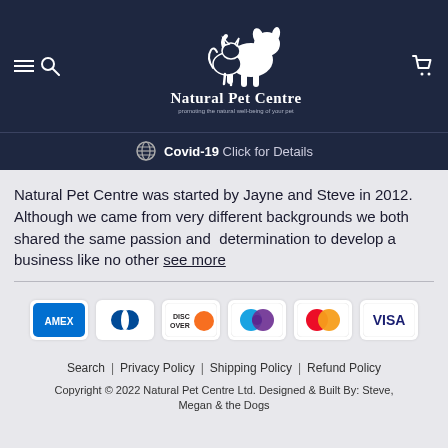[Figure (logo): Natural Pet Centre logo: white silhouette of a dog and cat sitting together, with text 'Natural Pet Centre' and tagline 'promoting the natural well-being of your pet' on dark navy background]
Covid-19 Click for Details
Natural Pet Centre was started by Jayne and Steve in 2012. Although we came from very different backgrounds we both shared the same passion and  determination to develop a business like no other see more
[Figure (other): Payment method icons: American Express (AMEX), Diners Club, Discover, Maestro/PayPal (two overlapping circles blue and purple), Mastercard (two overlapping circles red and orange), VISA]
Search | Privacy Policy | Shipping Policy | Refund Policy
Copyright © 2022 Natural Pet Centre Ltd. Designed & Built By: Steve, Megan & the Dogs